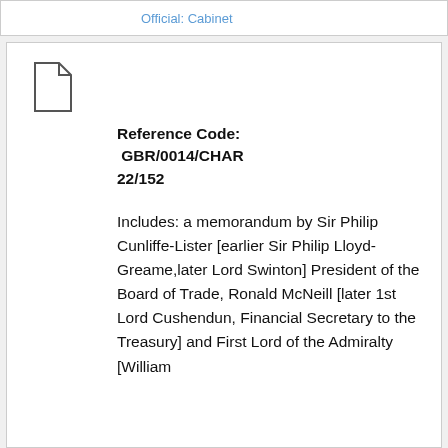Official: Cabinet
[Figure (illustration): Document/file icon (outlined rectangle with folded top-right corner)]
Reference Code: GBR/0014/CHAR 22/152
Includes: a memorandum by Sir Philip Cunliffe-Lister [earlier Sir Philip Lloyd-Greame,later Lord Swinton] President of the Board of Trade, Ronald McNeill [later 1st Lord Cushendun, Financial Secretary to the Treasury] and First Lord of the Admiralty [William